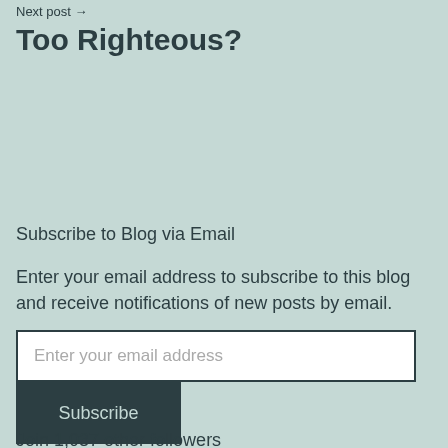Next post →
Too Righteous?
Subscribe to Blog via Email
Enter your email address to subscribe to this blog and receive notifications of new posts by email.
Enter your email address
Subscribe
Join 1,037 other followers